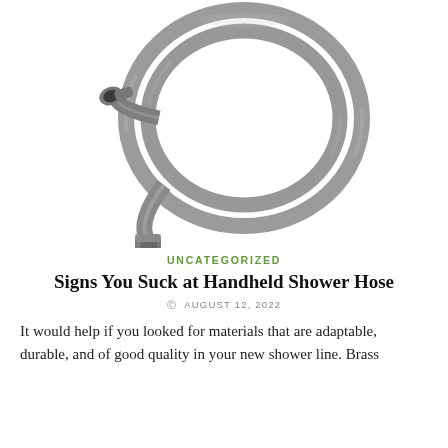[Figure (photo): A coiled gray metallic handheld shower hose with two connector fittings, one at each end, shown on a white background.]
UNCATEGORIZED
Signs You Suck at Handheld Shower Hose
AUGUST 12, 2022
It would help if you looked for materials that are adaptable, durable, and of good quality in your new shower line. Brass